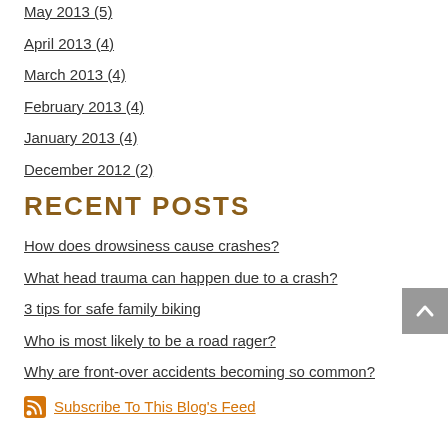May 2013 (5)
April 2013 (4)
March 2013 (4)
February 2013 (4)
January 2013 (4)
December 2012 (2)
RECENT POSTS
How does drowsiness cause crashes?
What head trauma can happen due to a crash?
3 tips for safe family biking
Who is most likely to be a road rager?
Why are front-over accidents becoming so common?
Subscribe To This Blog's Feed